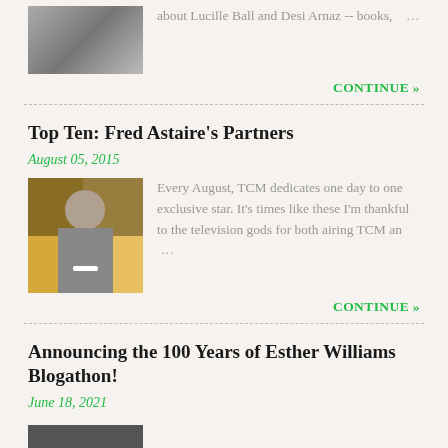about Lucille Ball and Desi Arnaz -- books, …
CONTINUE »
Top Ten: Fred Astaire's Partners
August 05, 2015
[Figure (photo): Black and white photo of Fred Astaire with yellow/golden background]
Every August, TCM dedicates one day to one exclusive star. It's times like these I'm thankful to the television gods for both airing TCM an …
CONTINUE »
Announcing the 100 Years of Esther Williams Blogathon!
June 18, 2021
[Figure (photo): Small photo at bottom of page, partially visible]